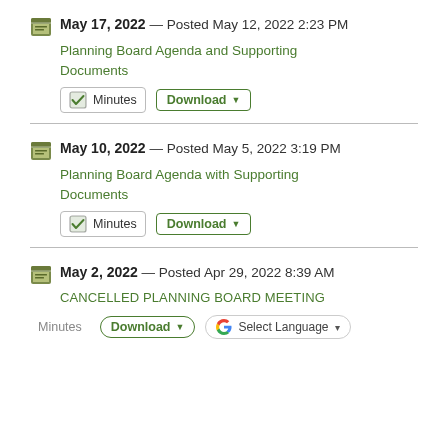May 17, 2022 — Posted May 12, 2022 2:23 PM
Planning Board Agenda and Supporting Documents
Minutes Download
May 10, 2022 — Posted May 5, 2022 3:19 PM
Planning Board Agenda with Supporting Documents
Minutes Download
May 2, 2022 — Posted Apr 29, 2022 8:39 AM
CANCELLED PLANNING BOARD MEETING
Minutes Download